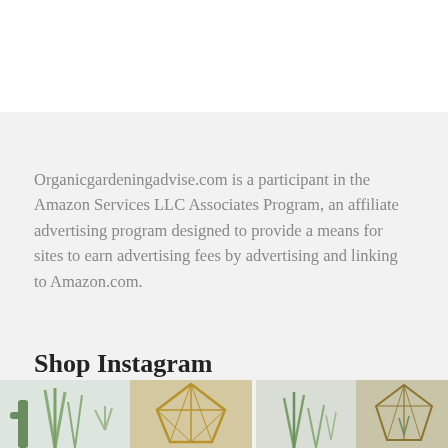Organicgardeningadvise.com is a participant in the Amazon Services LLC Associates Program, an affiliate advertising program designed to provide a means for sites to earn advertising fees by advertising and linking to Amazon.com.
Shop Instagram
[Figure (photo): Two side-by-side Instagram shop images: left shows air plants and a geometric terrarium; right shows plants and a geometric terrarium planter.]